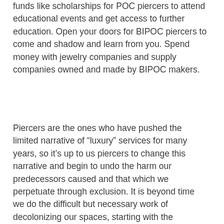funds like scholarships for POC piercers to attend educational events and get access to further education. Open your doors for BIPOC piercers to come and shadow and learn from you. Spend money with jewelry companies and supply companies owned and made by BIPOC makers.
Piercers are the ones who have pushed the limited narrative of “luxury” services for many years, so it’s up to us piercers to change this narrative and begin to undo the harm our predecessors caused and that which we perpetuate through exclusion. It is beyond time we do the difficult but necessary work of decolonizing our spaces, starting with the language we use.